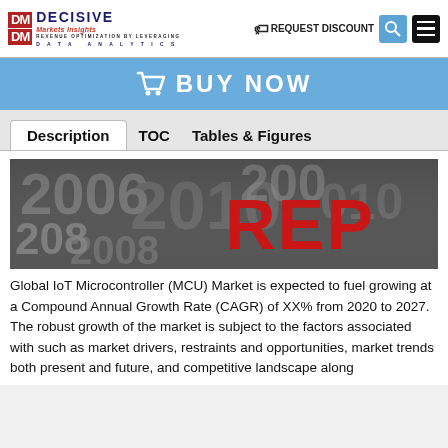DECISIVE Markets Insights | REQUEST DISCOUNT
[Figure (illustration): Blue BUY NOW button bar with shopping cart icon]
Description  TOC  Tables & Figures
[Figure (photo): 3D silver and red text letters spelling REPORT with year numbers in background]
Global IoT Microcontroller (MCU) Market is expected to fuel growing at a Compound Annual Growth Rate (CAGR) of XX% from 2020 to 2027. The robust growth of the market is subject to the factors associated with such as market drivers, restraints and opportunities, market trends both present and future, and competitive landscape along